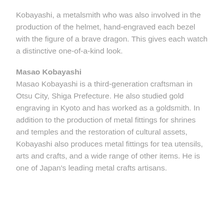Kobayashi, a metalsmith who was also involved in the production of the helmet, hand-engraved each bezel with the figure of a brave dragon. This gives each watch a distinctive one-of-a-kind look.
Masao Kobayashi
Masao Kobayashi is a third-generation craftsman in Otsu City, Shiga Prefecture. He also studied gold engraving in Kyoto and has worked as a goldsmith. In addition to the production of metal fittings for shrines and temples and the restoration of cultural assets, Kobayashi also produces metal fittings for tea utensils, arts and crafts, and a wide range of other items. He is one of Japan's leading metal crafts artisans.